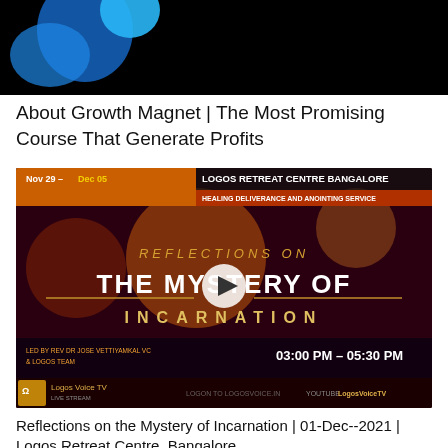[Figure (screenshot): Top portion of a video thumbnail showing a dark background with a blue circular logo element partially visible]
About Growth Magnet | The Most Promising Course That Generate Profits
[Figure (screenshot): Video thumbnail for Logos Retreat Centre Bangalore event: Reflections on The Mystery of Incarnation, Nov 29 - Dec 05, Healing Deliverance and Anointing Service, led by Rev Dr Jose Vettiyamkal VC & Logos Team, 03:00 PM - 05:30 PM, with play button overlay. Logos Voice TV branding at bottom with logon to logosvoice.in and YouTube LogosVoiceTV]
Reflections on the Mystery of Incarnation | 01-Dec--2021 | Logos Retreat Centre, Bangalore